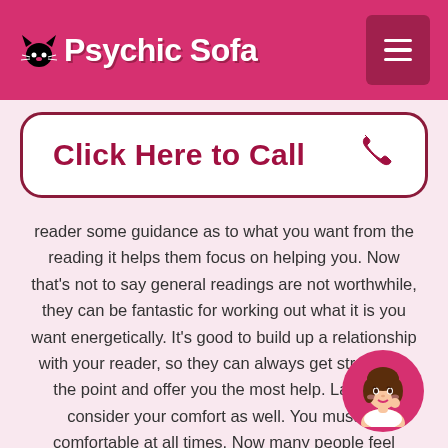Psychic Sofa
Click Here to Call
reader some guidance as to what you want from the reading it helps them focus on helping you. Now that's not to say general readings are not worthwhile, they can be fantastic for working out what it is you want energetically. It's good to build up a relationship with your reader, so they can always get straight to the point and offer you the most help. Lastly I'd consider your comfort as well. You must be comfortable at all times. Now many people feel nervous or shy when doing a reading but if you feel uncomfortable at any point then it might be time to find yourself a new reader.
[Figure (illustration): Circular avatar of a cartoon woman with dark hair touching her face, set on a pink background]